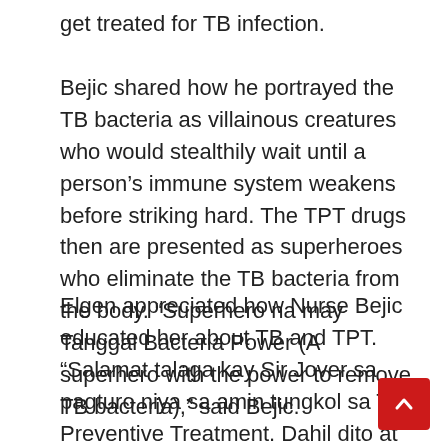get treated for TB infection.
Bejic shared how he portrayed the TB bacteria as villainous creatures who would stealthily wait until a person's immune system weakens before striking hard. The TPT drugs then are presented as superheroes who eliminate the TB bacteria from the body. “Superhero na may Tanggal Bacteria Power (A superhero with the power to remove TB bacteria),” said Bejic.
Elgen appreciated how Nurse Bejic educated her about TB and TPT. “Salamat talaga kay Sir Jover sa pagturo niya sa amin tungkol sa TB Preventive Treatment. Dahil dito at kahit mahirap lang kami, nakuha namin yung mga gamot na libre. Kampante kami na di kami